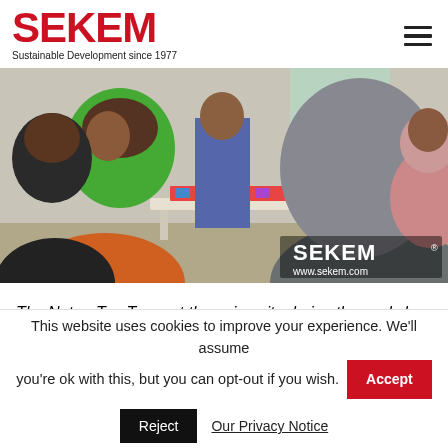SEKEM — Sustainable Development since 1977
[Figure (photo): Group of people wearing hijabs sitting and standing around a table with colorful materials during a workshop on gender equality. SEKEM logo and www.sekem.com visible in bottom right corner.]
The NatureTex-Team at the university during the workshop on gender equality.
The screening was followed by a lively and occasionally controversial
This website uses cookies to improve your experience. We'll assume you're ok with this, but you can opt-out if you wish. Accept Reject Our Privacy Notice